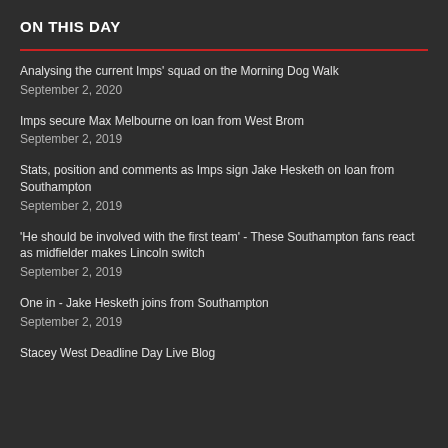ON THIS DAY
Analysing the current Imps' squad on the Morning Dog Walk
September 2, 2020
Imps secure Max Melbourne on loan from West Brom
September 2, 2019
Stats, position and comments as Imps sign Jake Hesketh on loan from Southampton
September 2, 2019
'He should be involved with the first team' - These Southampton fans react as midfielder makes Lincoln switch
September 2, 2019
One in - Jake Hesketh joins from Southampton
September 2, 2019
Stacey West Deadline Day Live Blog